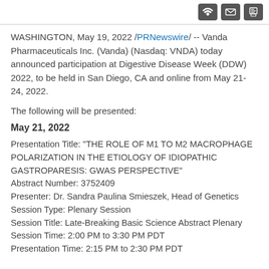WASHINGTON, May 19, 2022 /PRNewswire/ -- Vanda Pharmaceuticals Inc. (Vanda) (Nasdaq: VNDA) today announced participation at Digestive Disease Week (DDW) 2022, to be held in San Diego, CA and online from May 21-24, 2022.
The following will be presented:
May 21, 2022
Presentation Title: "THE ROLE OF M1 TO M2 MACROPHAGE POLARIZATION IN THE ETIOLOGY OF IDIOPATHIC GASTROPARESIS: GWAS PERSPECTIVE"
Abstract Number: 3752409
Presenter: Dr. Sandra Paulina Smieszek, Head of Genetics
Session Type: Plenary Session
Session Title: Late-Breaking Basic Science Abstract Plenary
Session Time: 2:00 PM to 3:30 PM PDT
Presentation Time: 2:15 PM to 2:30 PM PDT